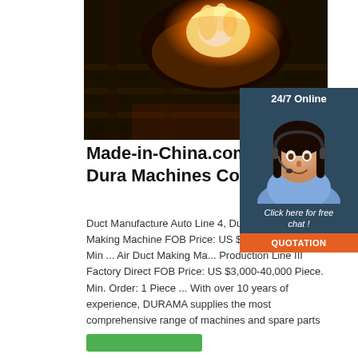[Figure (photo): Industrial duct manufacturing machine with bright flames/fire visible inside dark factory setting]
[Figure (photo): Customer service agent: smiling woman with dark hair wearing headset and blue shirt, with '24/7 Online' label and dark background, plus 'Click here for free chat!' text and orange QUOTATION button]
Made-in-China.com - Nanji Dura Machines Co., Ltd.
Duct Manufacture Auto Line 4, Duct Mad... Duct Making Machine FOB Price: US $3... 40,000 Piece. Min ... Air Duct Making Ma... Production Line III Factory Direct FOB Price: US $3,000-40,000 Piece. Min. Order: 1 Piece ... With over 10 years of experience, DURAMA supplies the most comprehensive range of machines and spare parts ...